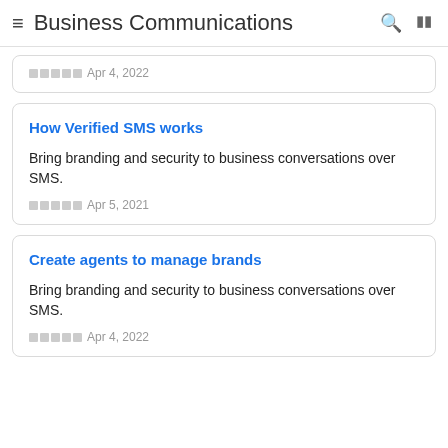Business Communications
Apr 4, 2022
How Verified SMS works
Bring branding and security to business conversations over SMS.
Apr 5, 2021
Create agents to manage brands
Bring branding and security to business conversations over SMS.
Apr 4, 2022